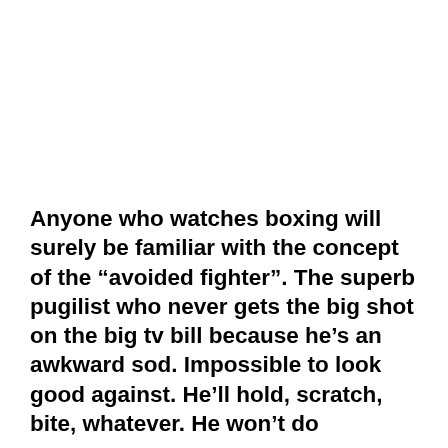Anyone who watches boxing will surely be familiar with the concept of the “avoided fighter”. The superb pugilist who never gets the big shot on the big tv bill because he’s an awkward sod. Impossible to look good against. He’ll hold, scratch, bite, whatever. He won’t do